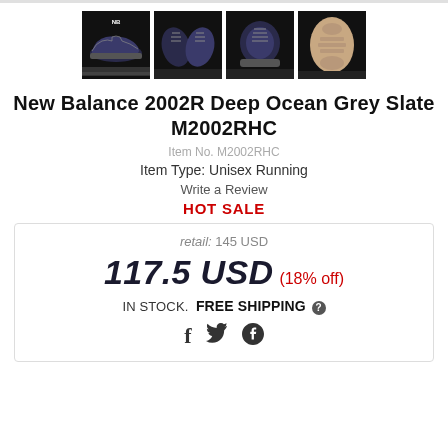[Figure (photo): Four product thumbnail images of New Balance 2002R sneakers on black background: side view, front/top view, front view, sole view]
New Balance 2002R Deep Ocean Grey Slate M2002RHC
Item No. M2002RHC
Item Type: Unisex Running
Write a Review
HOT SALE
retail: 145 USD
117.5 USD (18% off)
IN STOCK.  FREE SHIPPING ?